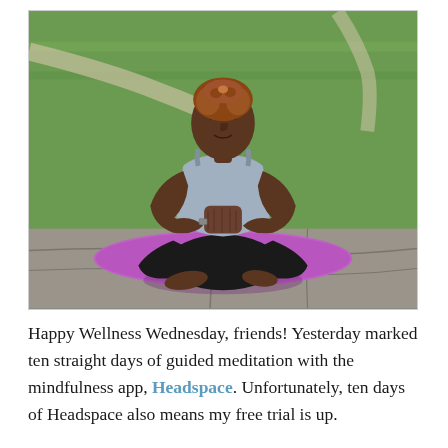[Figure (photo): A woman with short reddish-brown hair sits cross-legged in a meditation pose on a purple yoga mat placed on a stone surface outdoors. She is wearing a gray tank top and black leggings, with her hands pressed together in front of her chest (namaste/prayer position). Green grass is visible in the background.]
Happy Wellness Wednesday, friends! Yesterday marked ten straight days of guided meditation with the mindfulness app, Headspace. Unfortunately, ten days of Headspace also means my free trial is up.